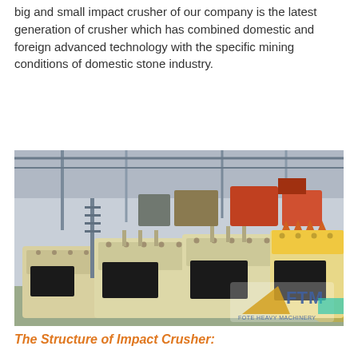big and small impact crusher of our company is the latest generation of crusher which has combined domestic and foreign advanced technology with the specific mining conditions of domestic stone industry.
[Figure (photo): Factory floor photograph showing multiple large cream/yellow-colored impact crushers arranged in rows inside an industrial warehouse. The crushers have black feed openings and metal bolted assemblies on top. The FTM (Fote Heavy Machinery) logo is visible in the bottom-right corner of the image.]
The Structure of Impact Crusher: